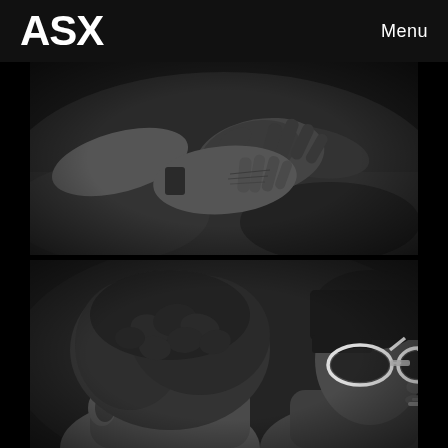ASX   Menu
[Figure (photo): Black and white close-up photograph of two pairs of hands touching or resting together, one pair appears elderly with wrinkled skin, resting on what seems to be a lap with suit jacket visible]
[Figure (photo): Black and white photograph showing two people from behind/side, one with curly dark hair and one wearing white cat-eye sunglasses with a cigarette]